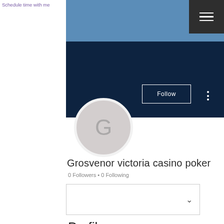Schedule time with me
[Figure (screenshot): Blue banner header area with dark hamburger menu icon in top right]
[Figure (photo): Dark navy banner section with Follow button and three-dot menu on the right, and circular avatar with letter G on the left]
Grosvenor victoria casino poker
0 Followers • 0 Following
[Figure (screenshot): Dropdown/filter box with chevron arrow]
Profile
Join date: May 18, 2022